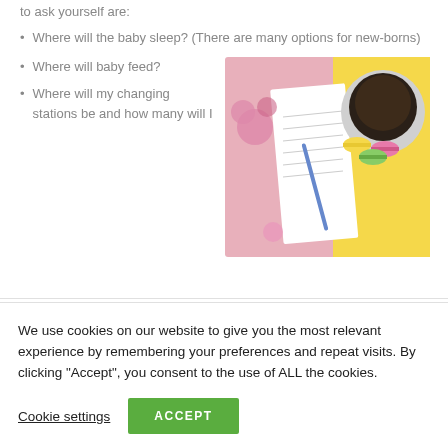to ask yourself are:
Where will the baby sleep? (There are many options for new-borns)
Where will baby feed?
Where will my changing stations be and how many will I
[Figure (photo): Overhead view of a pink flat-lay with a notepad, pen, coffee cup with saucer, macarons, yellow paper, and flowers]
We use cookies on our website to give you the most relevant experience by remembering your preferences and repeat visits. By clicking "Accept", you consent to the use of ALL the cookies.
Cookie settings
ACCEPT